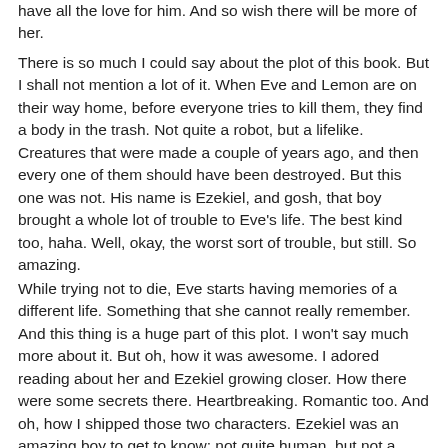have all the love for him. And so wish there will be more of her.
There is so much I could say about the plot of this book. But I shall not mention a lot of it. When Eve and Lemon are on their way home, before everyone tries to kill them, they find a body in the trash. Not quite a robot, but a lifelike. Creatures that were made a couple of years ago, and then every one of them should have been destroyed. But this one was not. His name is Ezekiel, and gosh, that boy brought a whole lot of trouble to Eve's life. The best kind too, haha. Well, okay, the worst sort of trouble, but still. So amazing.
While trying not to die, Eve starts having memories of a different life. Something that she cannot really remember. And this thing is a huge part of this plot. I won't say much more about it. But oh, how it was awesome. I adored reading about her and Ezekiel growing closer. How there were some secrets there. Heartbreaking. Romantic too. And oh, how I shipped those two characters. Ezekiel was an amazing boy to get to know; not quite human, but not a robot either. Lifelike. And very much so. Eee. I loved him tons.